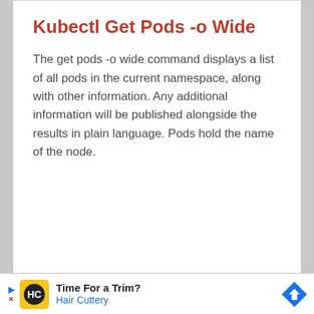Kubectl Get Pods -o Wide
The get pods -o wide command displays a list of all pods in the current namespace, along with other information. Any additional information will be published alongside the results in plain language. Pods hold the name of the node.
[Figure (other): Advertisement banner for Hair Cuttery with yellow HC logo icon, text 'Time For a Trim? Hair Cuttery' and a blue navigation arrow icon]